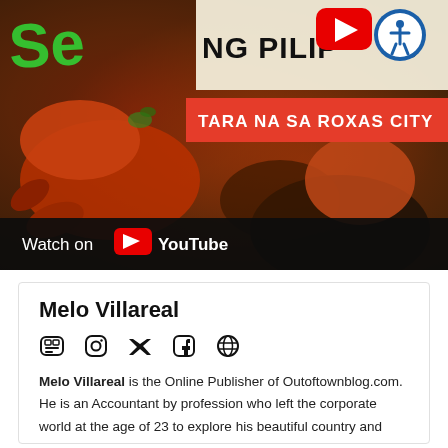[Figure (screenshot): YouTube video thumbnail showing seafood (lobster/crab) with text overlays: partial green/red text top left, 'NG PILIPINAS' text, YouTube play button icon, accessibility icon, red banner with 'TARA NA SA ROXAS CITY', and 'Watch on YouTube' bar at bottom]
Melo Villareal
[Figure (infographic): Social media icons row: YouTube, Instagram, Twitter, Facebook, Globe/website]
Melo Villareal is the Online Publisher of Outoftownblog.com. He is an Accountant by profession who left the corporate world at the age of 23 to explore his beautiful country and